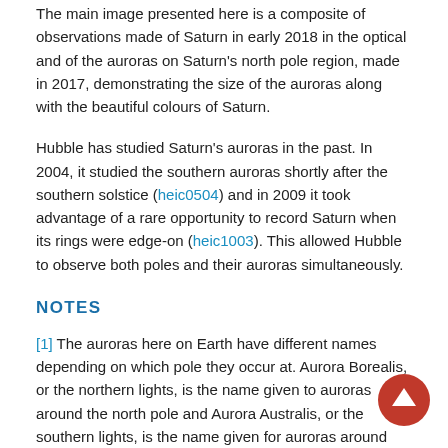The main image presented here is a composite of observations made of Saturn in early 2018 in the optical and of the auroras on Saturn's north pole region, made in 2017, demonstrating the size of the auroras along with the beautiful colours of Saturn.
Hubble has studied Saturn's auroras in the past. In 2004, it studied the southern auroras shortly after the southern solstice (heic0504) and in 2009 it took advantage of a rare opportunity to record Saturn when its rings were edge-on (heic1003). This allowed Hubble to observe both poles and their auroras simultaneously.
NOTES
[1] The auroras here on Earth have different names depending on which pole they occur at. Aurora Borealis, or the northern lights, is the name given to auroras around the north pole and Aurora Australis, or the southern lights, is the name given for auroras around the south pole.
[2] Cassini was a collaboration between NASA, ESA and the Italian Space Agency. It spent 13 years orbiting Saturn, gathering information and giving astronomers a great insight into the inner workings of Saturn. Cassini took more risks at the end of its mission, travelling through the gap between Saturn and its rings. No spacecraft had previously done this, and Cassini gathered spectacular images of Saturn as well as new data for scientists to